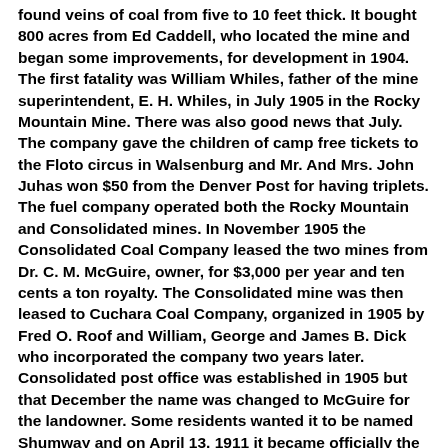found veins of coal from five to 10 feet thick. It bought 800 acres from Ed Caddell, who located the mine and began some improvements, for development in 1904. The first fatality was William Whiles, father of the mine superintendent, E. H. Whiles, in July 1905 in the Rocky Mountain Mine. There was also good news that July. The company gave the children of camp free tickets to the Floto circus in Walsenburg and Mr. And Mrs. John Juhas won $50 from the Denver Post for having triplets. The fuel company operated both the Rocky Mountain and Consolidated mines. In November 1905 the Consolidated Coal Company leased the two mines from Dr. C. M. McGuire, owner, for $3,000 per year and ten cents a ton royalty. The Consolidated mine was then leased to Cuchara Coal Company, organized in 1905 by Fred O. Roof and William, George and James B. Dick who incorporated the company two years later. Consolidated post office was established in 1905 but that December the name was changed to McGuire for the landowner. Some residents wanted it to be named Shumway and on April 13, 1911 it became officially the Camp Shumway post office. It stayed that way until it was closed July 1, 1924. It was named for E.E. Shumway, president of Rocky Mountain Fuel Company. The post office was located in the Pinon Supply Company's store. John Kirkpatrick was store manager and postmaster in 1905. The school was in District No. 17 and was always named Rocky Mountain. In